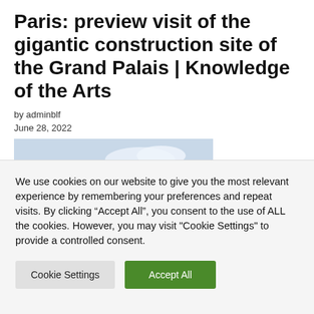Paris: preview visit of the gigantic construction site of the Grand Palais | Knowledge of the Arts
by adminblf
June 28, 2022
[Figure (photo): Partial photo showing figures against a sky background, partially obscured by cookie consent overlay]
We use cookies on our website to give you the most relevant experience by remembering your preferences and repeat visits. By clicking “Accept All”, you consent to the use of ALL the cookies. However, you may visit "Cookie Settings" to provide a controlled consent.
Cookie Settings | Accept All